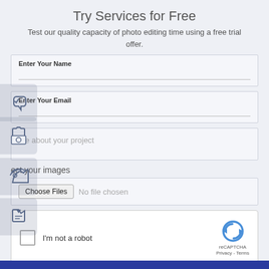Try Services for Free
Test our quality capacity of photo editing time using a free trial offer.
Enter Your Name
Enter Your Email
Write about your project
Select your images
Choose Files  No file chosen
[Figure (screenshot): reCAPTCHA widget with checkbox 'I'm not a robot' and reCAPTCHA logo with Privacy and Terms links]
I'm not a robot
reCAPTCHA
Privacy · Terms